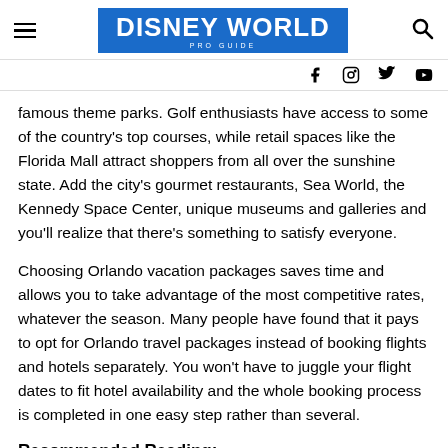DISNEY WORLD PRO GUIDE
famous theme parks. Golf enthusiasts have access to some of the country's top courses, while retail spaces like the Florida Mall attract shoppers from all over the sunshine state. Add the city's gourmet restaurants, Sea World, the Kennedy Space Center, unique museums and galleries and you'll realize that there's something to satisfy everyone.
Choosing Orlando vacation packages saves time and allows you to take advantage of the most competitive rates, whatever the season. Many people have found that it pays to opt for Orlando travel packages instead of booking flights and hotels separately. You won't have to juggle your flight dates to fit hotel availability and the whole booking process is completed in one easy step rather than several.
Recommended Reading: